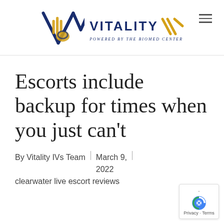[Figure (logo): Vitality IV logo — a DNA helix wave shape in navy blue and gold, with the text VITALITY IV and 'Powered by The BioMed Center' below, plus a hamburger menu icon on the right]
Escorts include backup for times when you just can't
By Vitality IVs Team | March 9, 2022 | clearwater live escort reviews